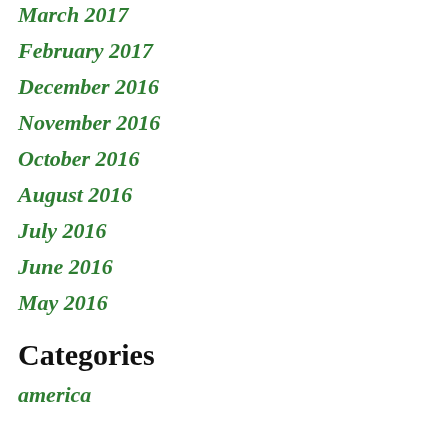March 2017
February 2017
December 2016
November 2016
October 2016
August 2016
July 2016
June 2016
May 2016
Categories
america